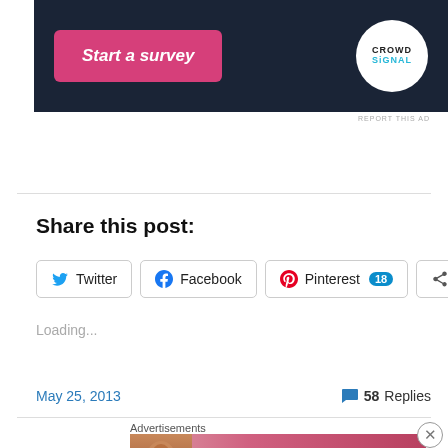[Figure (screenshot): Crowdsignal 'Start a survey' advertisement banner on dark navy background with pink button and Crowdsignal circular logo]
REPORT THIS AD
Share this post:
Twitter  Facebook  Pinterest 18  More
Loading...
May 25, 2013
58 Replies
Advertisements
[Figure (screenshot): Victoria's Secret advertisement banner with model, VS logo, 'SHOP THE COLLECTION' text, and 'SHOP NOW' button]